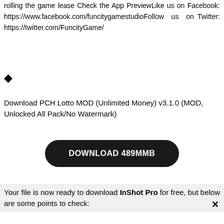rolling the game lease Check the App PreviewLike us on Facebook: https://www.facebook.com/funcitygamestudioFollow us on Twitter: https://twitter.com/FuncityGame/
◆
Download PCH Lotto MOD (Unlimited Money) v3.1.0 (MOD, Unlocked All Pack/No Watermark)
[Figure (other): Black rounded rectangle download button with white text reading DOWNLOAD 489MMB]
Your file is now ready to download InShot Pro for free, but below are some points to check: